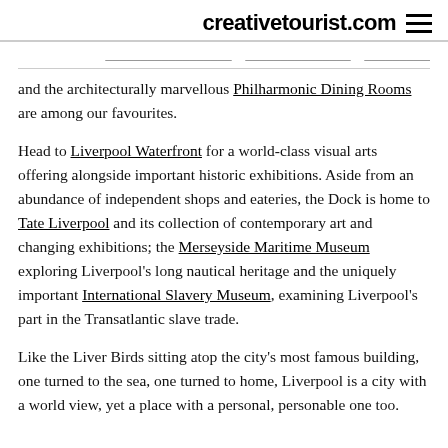creativetourist.com
and the architecturally marvellous Philharmonic Dining Rooms are among our favourites.
Head to Liverpool Waterfront for a world-class visual arts offering alongside important historic exhibitions. Aside from an abundance of independent shops and eateries, the Dock is home to Tate Liverpool and its collection of contemporary art and changing exhibitions; the Merseyside Maritime Museum exploring Liverpool's long nautical heritage and the uniquely important International Slavery Museum, examining Liverpool's part in the Transatlantic slave trade.
Like the Liver Birds sitting atop the city's most famous building, one turned to the sea, one turned to home, Liverpool is a city with a world view, yet a place with a personal, personable one too.